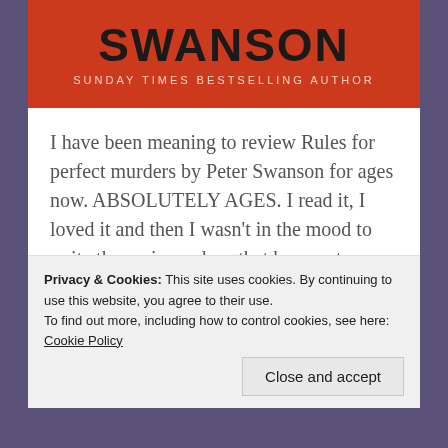[Figure (illustration): Book cover banner showing author name SWANSON in large bold black text on red/orange background, with subtitle 'SUNDAY TIMES BESTSELLING AUTHOR' in small caps below]
I have been meaning to review Rules for perfect murders by Peter Swanson for ages now. ABSOLUTELY AGES. I read it, I loved it and then I wasn't in the mood to write the review - does that happen to anyone else? #BadBookBlogger Book Blurb: Eight classic murders. One killer thriller fan... The gripping new...
Continue Reading →
Share this:
Privacy & Cookies: This site uses cookies. By continuing to use this website, you agree to their use.
To find out more, including how to control cookies, see here: Cookie Policy
Close and accept